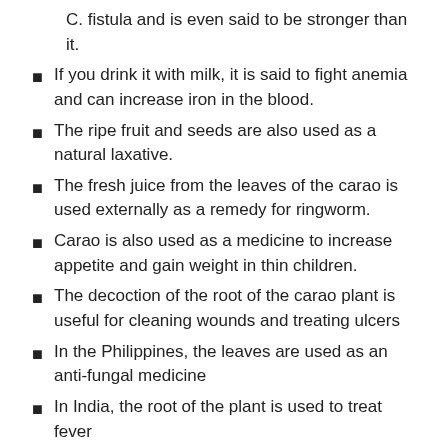C. fistula and is even said to be stronger than it.
If you drink it with milk, it is said to fight anemia and can increase iron in the blood.
The ripe fruit and seeds are also used as a natural laxative.
The fresh juice from the leaves of the carao is used externally as a remedy for ringworm.
Carao is also used as a medicine to increase appetite and gain weight in thin children.
The decoction of the root of the carao plant is useful for cleaning wounds and treating ulcers
In the Philippines, the leaves are used as an anti-fungal medicine
In India, the root of the plant is used to treat fever
Culinary Uses